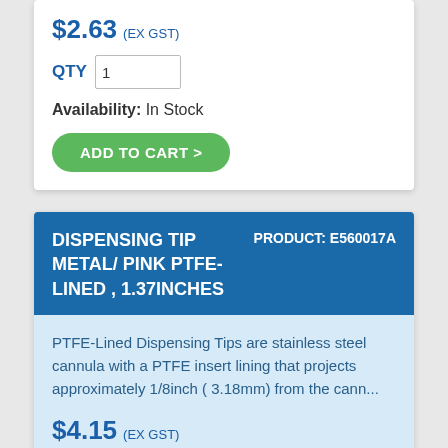$2.63 (EX GST)
QTY 1
Availability: In Stock
ADD TO CART >
DISPENSING TIP METAL/ PINK PTFE-LINED , 1.37INCHES  PRODUCT: E560017A
PTFE-Lined Dispensing Tips are stainless steel cannula with a PTFE insert lining that projects approximately 1/8inch ( 3.18mm) from the cann...
$4.15 (EX GST)
QTY 1
Availability: